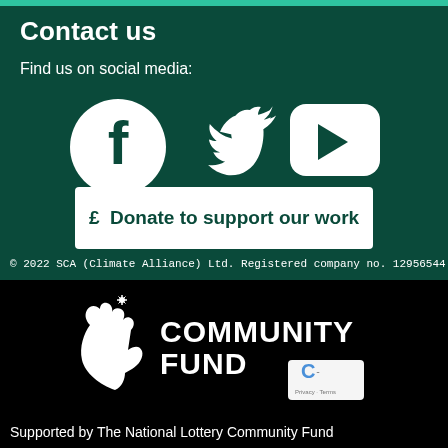Contact us
Find us on social media:
[Figure (illustration): Facebook, Twitter, and YouTube social media icons in white on dark green background]
£  Donate to support our work
© 2022 SCA (Climate Alliance) Ltd. Registered company no. 12956544.
[Figure (logo): National Lottery Community Fund logo in white on black background, with reCAPTCHA badge]
Supported by The National Lottery Community Fund